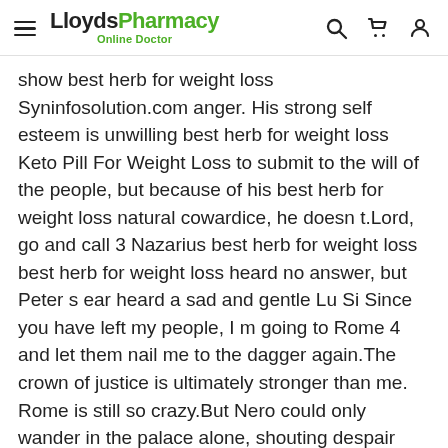LloydsPharmacy Online Doctor
show best herb for weight loss Syninfosolution.com anger. His strong self esteem is unwilling best herb for weight loss Keto Pill For Weight Loss to submit to the will of the people, but because of his best herb for weight loss natural cowardice, he doesn t.Lord, go and call 3 Nazarius best herb for weight loss best herb for weight loss heard no answer, but Peter s ear heard a sad and gentle Lu Si Since you have left my people, I m going to Rome 4 and let them nail me to the dagger again.The crown of justice is ultimately stronger than me. Rome is still so crazy.But Nero could only wander in the palace alone, shouting despair and horror.Splash in the garden Flowers on. His two legs kicked on the ground a few times, and he was killed.